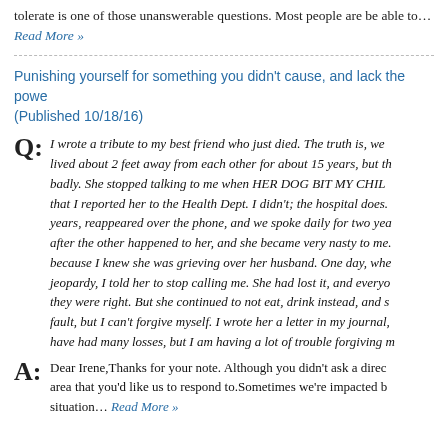tolerate is one of those unanswerable questions. Most people are be able to… Read More »
Punishing yourself for something you didn't cause, and lack the power to… (Published 10/18/16)
Q: I wrote a tribute to my best friend who just died. The truth is, we lived about 2 feet away from each other for about 15 years, but th badly. She stopped talking to me when HER DOG BIT MY CHIL that I reported her to the Health Dept. I didn't; the hospital does. years, reappeared over the phone, and we spoke daily for two yea after the other happened to her, and she became very nasty to me. because I knew she was grieving over her husband. One day, whe jeopardy, I told her to stop calling me. She had lost it, and everyo they were right. But she continued to not eat, drink instead, and s fault, but I can't forgive myself. I wrote her a letter in my journal, have had many losses, but I am having a lot of trouble forgiving m
A: Dear Irene,Thanks for your note. Although you didn't ask a direc area that you'd like us to respond to.Sometimes we're impacted b situation… Read More »